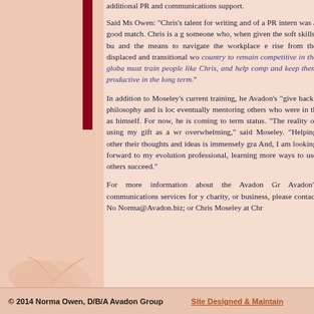additional PR and communications support. Said Ms Owen: "Chris's talent for writing and of a PR intern was a good match. Chris is a g someone who, when given the soft skills, bu and the means to navigate the workplace e rise from the displaced and transitional wo country to remain competitive in the globa must train people like Chris, and help comp and keep them productive in the long term."
In addition to Moseley's current training, he Avadon's "give back" philosophy and is loc eventually mentoring others who were in th as himself. For now, he is coming to term status. "The reality of using my gift as a wr overwhelming," said Moseley. "Helping other their thoughts and ideas is immensely gra And, I am looking forward to my evolution professional, learning more ways to use others succeed."
For more information about the Avadon Gr Avadon's communications services for y charity, or business, please contact No Norma@Avadon.biz; or Chris Moseley at Chr
© 2014 Norma Owen, D/B/A Avadon Group      Site Designed & Maintain